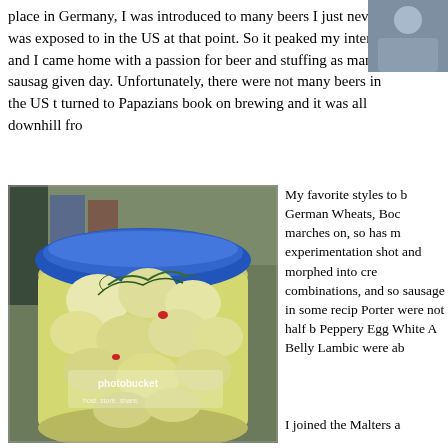place in Germany, I was introduced to many beers I just never was exposed to in the US at that point. So it peaked my interest and I came home with a passion for beer and stuffing as many sausage given day. Unfortunately, there were not many beers in the US turned to Papazians book on brewing and it was all downhill fr
[Figure (photo): Partial photo of a person visible in the top right corner]
[Figure (photo): A glass jar with a blue lid filled with pickled eggs and herbs, with a photobucket watermark visible]
My favorite styles to b German Wheats, Boc marches on, so has m experimentation shot and morphed into cre combinations, and so sausage in some recip Porter were not half b Peppery Egg White A Belly Lambic were ab
I joined the Malters a